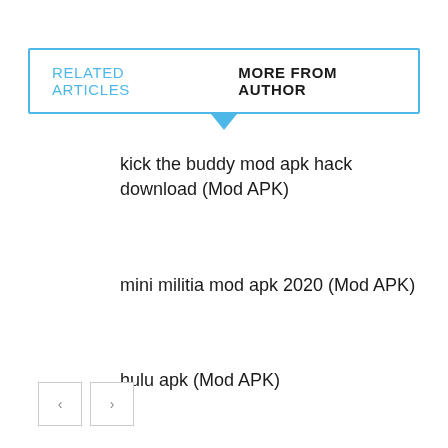RELATED ARTICLES   MORE FROM AUTHOR
kick the buddy mod apk hack download (Mod APK)
mini militia mod apk 2020 (Mod APK)
hulu apk (Mod APK)